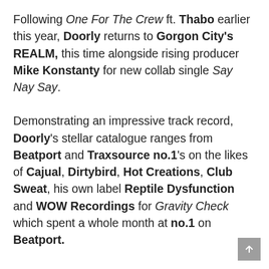Following One For The Crew ft. Thabo earlier this year, Doorly returns to Gorgon City's REALM, this time alongside rising producer Mike Konstanty for new collab single Say Nay Say.
Demonstrating an impressive track record, Doorly's stellar catalogue ranges from Beatport and Traxsource no.1's on the likes of Cajual, Dirtybird, Hot Creations, Club Sweat, his own label Reptile Dysfunction and WOW Recordings for Gravity Check which spent a whole month at no.1 on Beatport.